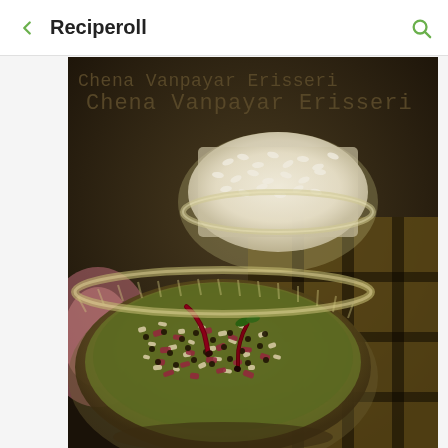Reciperoll
[Figure (photo): A close-up photograph of Chena Vanpayar Erisseri (a Kerala dish of yam and red cowpeas) served in a glass bowl garnished with dried red chilies and grated coconut, with a glass bowl of white rice in the background. The text 'Chena Vanpayar Erisseri' is overlaid in monospace font on the top-left of the image.]